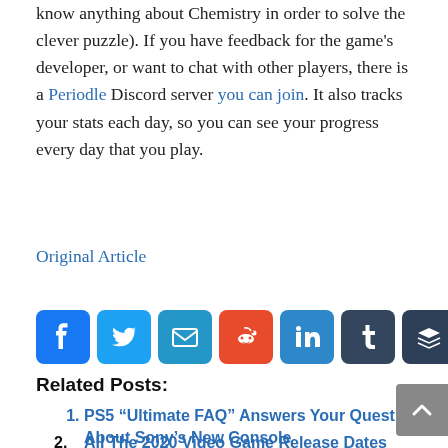know anything about Chemistry in order to solve the clever puzzle). If you have feedback for the game's developer, or want to chat with other players, there is a Periodle Discord server you can join. It also tracks your stats each day, so you can see your progress every day that you play.
Original Article
[Figure (infographic): Row of social sharing icon buttons: Facebook (blue), Twitter (blue), Email (blue), Reddit (orange), LinkedIn (blue), Tumblr (dark blue), Buffer (dark teal), Evernote (green), Share/More (blue)]
Related Posts:
PS5 “Ultimate FAQ” Answers Your Questions About Sony’s New Console
All The 2020 Video Game Release Dates
These are the best games for your